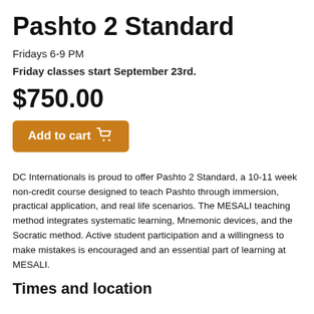Pashto 2 Standard
Fridays 6-9 PM
Friday classes start September 23rd.
$750.00
Add to cart
DC Internationals is proud to offer Pashto 2 Standard, a 10-11 week non-credit course designed to teach Pashto through immersion, practical application, and real life scenarios. The MESALI teaching method integrates systematic learning, Mnemonic devices, and the Socratic method. Active student participation and a willingness to make mistakes is encouraged and an essential part of learning at MESALI.
Times and location